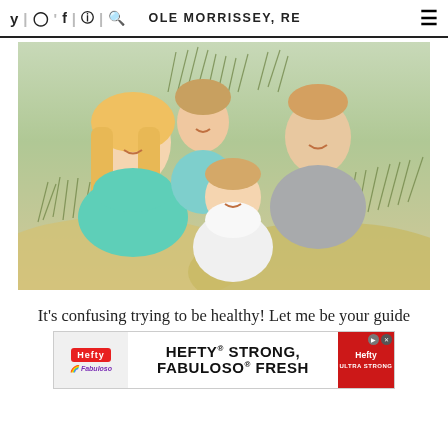NICOLE MORRISSEY, RD
[Figure (photo): Family photo of two adults and two young girls sitting together on a sandy beach with tall grass in the background. Woman on left with blonde hair wearing teal off-shoulder top, man on right in gray shirt, two daughters in the center.]
It's confusing trying to be healthy! Let me be your guide
[Figure (other): Advertisement banner for Hefty and Fabuloso brands — reads 'HEFTY STRONG, FABULOSO FRESH']
to   ple appro   y even